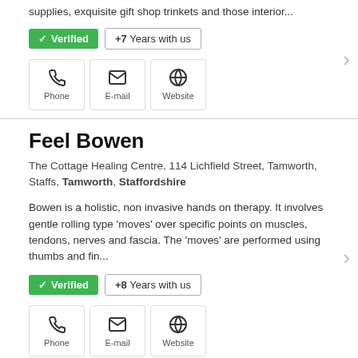supplies, exquisite gift shop trinkets and those interior...
✓ Verified   +7 Years with us
Phone   E-mail   Website
Feel Bowen
The Cottage Healing Centre, 114 Lichfield Street, Tamworth, Staffs, Tamworth, Staffordshire
Bowen is a holistic, non invasive hands on therapy. It involves gentle rolling type 'moves' over specific points on muscles, tendons, nerves and fascia. The 'moves' are performed using thumbs and fin...
✓ Verified   +8 Years with us
Phone   E-mail   Website
SVC Ltd